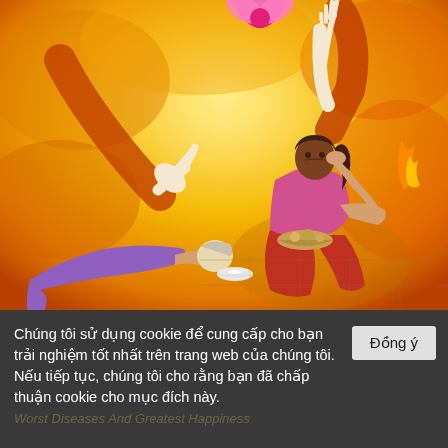[Figure (illustration): A colorful Buddhist-style illustration showing a divine hand reaching down from above holding a lotus flower, a person prostrating on the ground with a bowl, and a seated person eating, surrounded by yellow/orange flames and golden light.]
Chúng tôi sử dụng cookie để cung cấp cho bạn trải nghiệm tốt nhất trên trang web của chúng tôi. Nếu tiếp tục, chúng tôi cho rằng bạn đã chấp thuận cookie cho mục đích này.
Đồng ý